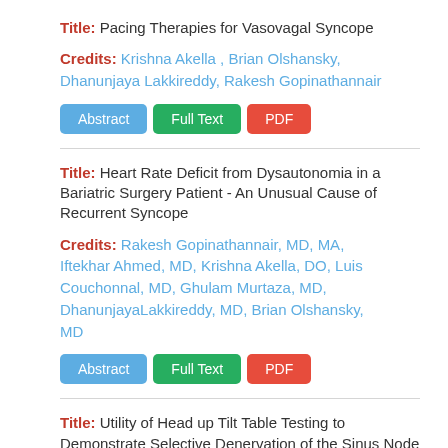Title: Pacing Therapies for Vasovagal Syncope
Credits: Krishna Akella , Brian Olshansky, Dhanunjaya Lakkireddy, Rakesh Gopinathannair
Title: Heart Rate Deficit from Dysautonomia in a Bariatric Surgery Patient - An Unusual Cause of Recurrent Syncope
Credits: Rakesh Gopinathannair, MD, MA, Iftekhar Ahmed, MD, Krishna Akella, DO, Luis Couchonnal, MD, Ghulam Murtaza, MD, DhanunjayaLakkireddy, MD, Brian Olshansky, MD
Title: Utility of Head up Tilt Table Testing to Demonstrate Selective Denervation of the Sinus Node after Cardioneuroblation